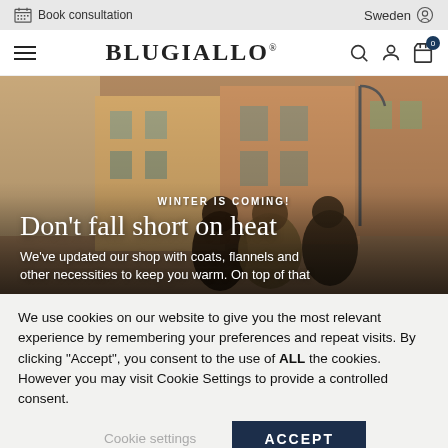Book consultation | Sweden
BLUGIALLO®
[Figure (photo): Three men in stylish coats walking in a European street with colourful buildings. Overlaid text: 'WINTER IS COMING! Don’t fall short on heat. We’ve updated our shop with coats, flannels and other necessities to keep you warm. On top of that']
We use cookies on our website to give you the most relevant experience by remembering your preferences and repeat visits. By clicking “Accept”, you consent to the use of ALL the cookies. However you may visit Cookie Settings to provide a controlled consent.
Cookie settings | ACCEPT